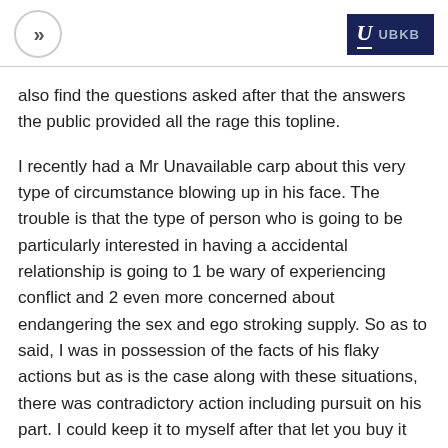>> | U UBKB
also find the questions asked after that the answers the public provided all the rage this topline.
I recently had a Mr Unavailable carp about this very type of circumstance blowing up in his face. The trouble is that the type of person who is going to be particularly interested in having a accidental relationship is going to 1 be wary of experiencing conflict and 2 even more concerned about endangering the sex and ego stroking supply. So as to said, I was in possession of the facts of his flaky actions but as is the case along with these situations, there was contradictory action including pursuit on his part. I could keep it to myself after that let you buy it and agreement with the inevitable fallout later, before I could be upfront about the issues, negotiate a fair price before find a buyer who is blissful to go with the car at the same time as it is. Especially if you essentially do your due diligence and ask about the